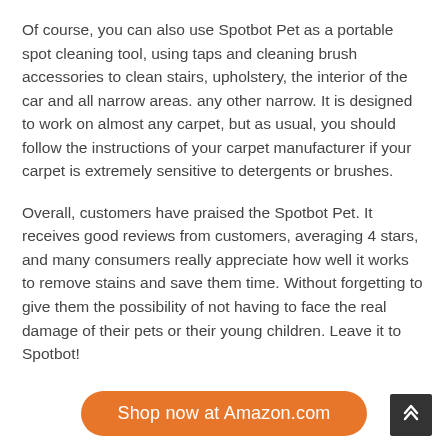Of course, you can also use Spotbot Pet as a portable spot cleaning tool, using taps and cleaning brush accessories to clean stairs, upholstery, the interior of the car and all narrow areas. any other narrow. It is designed to work on almost any carpet, but as usual, you should follow the instructions of your carpet manufacturer if your carpet is extremely sensitive to detergents or brushes.
Overall, customers have praised the Spotbot Pet. It receives good reviews from customers, averaging 4 stars, and many consumers really appreciate how well it works to remove stains and save them time. Without forgetting to give them the possibility of not having to face the real damage of their pets or their young children. Leave it to Spotbot!